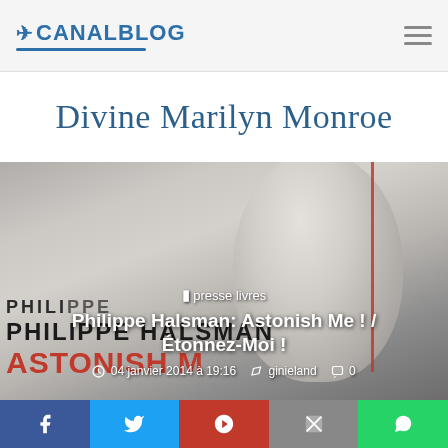CANALBLOG
Divine Marilyn Monroe
[Figure (photo): Black and white photo of Marilyn Monroe smiling, overlaid with book cover text 'PHILIPPE HALSMAN ASTONISH ME' in large bold letters]
presse livres
Philippe Halsman: Astonish Me ! / Étonnez-Moi !
04 janvier 2014 à 19:16   ginieland   0